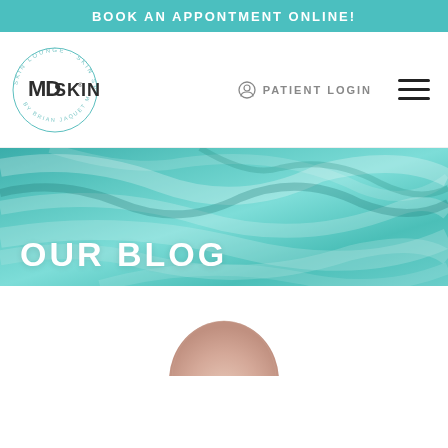BOOK AN APPONTMENT ONLINE!
[Figure (logo): MDSkin logo with circular badge text 'SKIN LOUNGE · SKIN SPA · BY BRIAN JAQUET MD' around the perimeter and 'MDSKIN' in bold dark letters]
PATIENT LOGIN
[Figure (illustration): Teal/turquoise marble fluid art texture used as hero banner background]
OUR BLOG
[Figure (photo): Partial photo of a person's face/head visible at the top, appearing below the hero banner in the white content section]